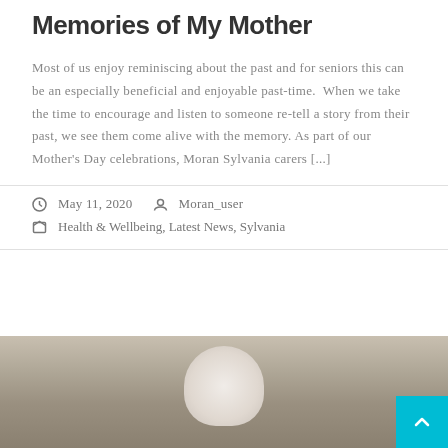Memories of My Mother
Most of us enjoy reminiscing about the past and for seniors this can be an especially beneficial and enjoyable past-time.  When we take the time to encourage and listen to someone re-tell a story from their past, we see them come alive with the memory. As part of our Mother's Day celebrations, Moran Sylvania carers [...]
May 11, 2020   Moran_user
Health & Wellbeing, Latest News, Sylvania
[Figure (photo): Photo of an elderly person, partial view, with wooden background. A cyan/teal back-to-top button is visible in the bottom right corner.]